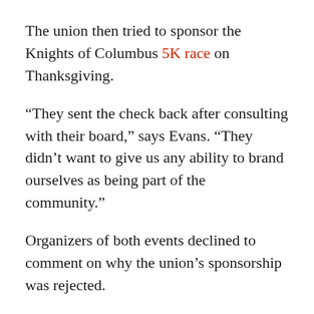The union then tried to sponsor the Knights of Columbus 5K race on Thanksgiving.
“They sent the check back after consulting with their board,” says Evans. “They didn’t want to give us any ability to brand ourselves as being part of the community.”
Organizers of both events declined to comment on why the union’s sponsorship was rejected.
This Wednesday, the workers at the plant will vote on whether to unionize.
***